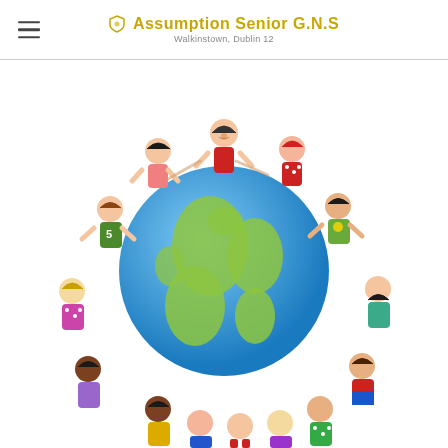Assumption Senior G.N.S – Walkinstown, Dublin 12
[Figure (illustration): Colorful cartoon illustration of diverse children of different ethnicities holding hands in a circle around a globe of the Earth, representing global unity and multiculturalism. Each child wears different colored clothing. Set against a white background.]